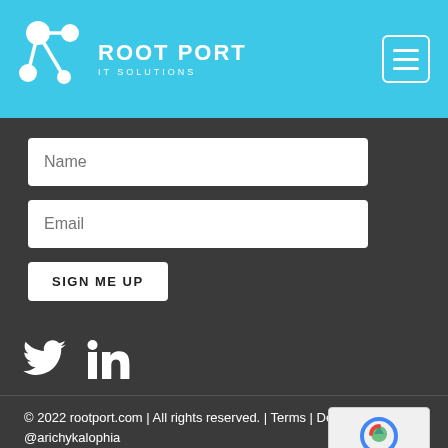[Figure (logo): Root Port IT Solutions logo with network node graphic and white text on blue background, with hamburger menu icon]
[Figure (screenshot): Email signup form with Name field, Email field, and SIGN ME UP button on dark background]
[Figure (infographic): Twitter and LinkedIn social media icons in white]
© 2022 rootport.com | All rights reserved. | Terms | Design by @arichykalophia
Sitemap